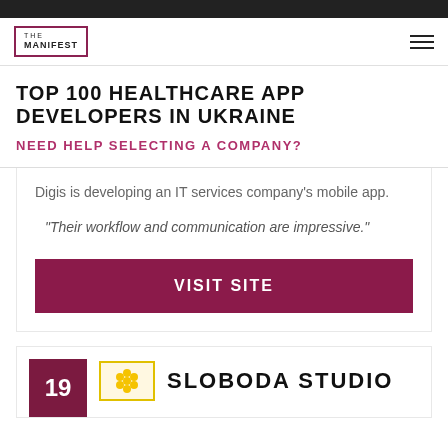THE MANIFEST
TOP 100 HEALTHCARE APP DEVELOPERS IN UKRAINE
NEED HELP SELECTING A COMPANY?
Digis is developing an IT services company's mobile app.
"Their workflow and communication are impressive."
VISIT SITE
19
SLOBODA STUDIO